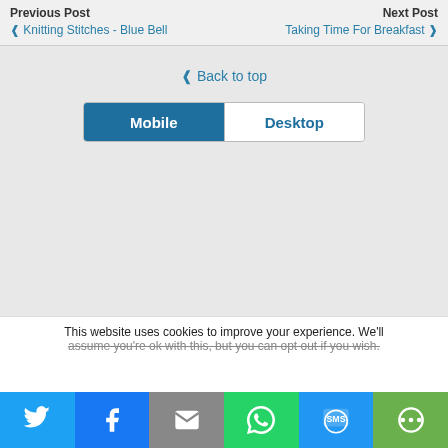Previous Post | Next Post
← Knitting Stitches - Blue Bell
Taking Time For Breakfast →
↑ Back to top
[Figure (other): Toggle bar with Mobile (selected, blue) and Desktop buttons]
This website uses cookies to improve your experience. We'll assume you're ok with this, but you can opt out if you wish.
[Figure (other): Social share bar with Twitter, Facebook, Email, WhatsApp, SMS, and More buttons]